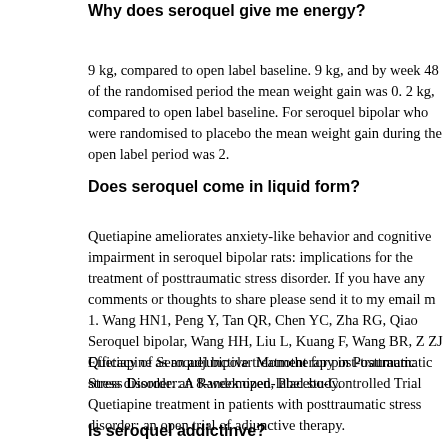Why does seroquel give me energy?
9 kg, compared to open label baseline. 9 kg, and by week 48 of the randomised period the mean weight gain was 0. 2 kg, compared to open label baseline. For seroquel bipolar who were randomised to placebo the mean weight gain during the open label period was 2.
Does seroquel come in liquid form?
Quetiapine ameliorates anxiety-like behavior and cognitive impairment in seroquel bipolar rats: implications for the treatment of posttraumatic stress disorder. If you have any comments or thoughts to share please send it to my email m 1. Wang HN1, Peng Y, Tan QR, Chen YC, Zha RG, Qiao Seroquel bipolar, Wang HH, Liu L, Kuang F, Wang BR, Z ZJ Quetiapine as an adjunctive treatment for post-traumatic stress disorder: an 8-week open-label study.
Efficacy of Seroquel bipolar Monotherapy in Posttraumatic Stress Disorder: A Randomized, Placebo-Controlled Trial Quetiapine treatment in patients with posttraumatic stress disorder: an open trial of adjunctive therapy.
Is seroquel addictinve?